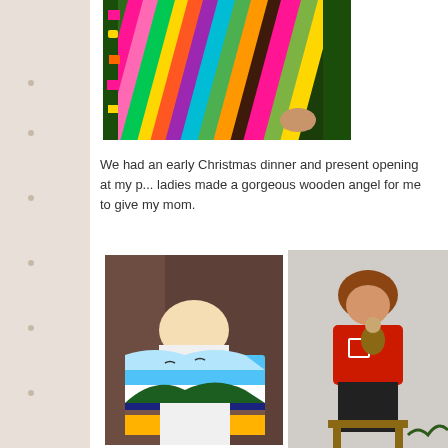[Figure (photo): Colorful patchwork quilt laid out on a dark surface, viewed from above with someone's hand visible at the edge. The quilt features bright multi-colored fabric squares and strips.]
We had an early Christmas dinner and present opening at my p... ladies made a gorgeous wooden angel for me to give my mom.
[Figure (photo): Person sitting in a brown chair or couch holding a scenic landscape quilt with mountains, sky, and nature scene in blue, white, brown and gold tones.]
[Figure (photo): Woman in a red Christmas sweater sitting on a stool, holding what appears to be a stuffed animal or doll. Christmas decorations visible in the background.]